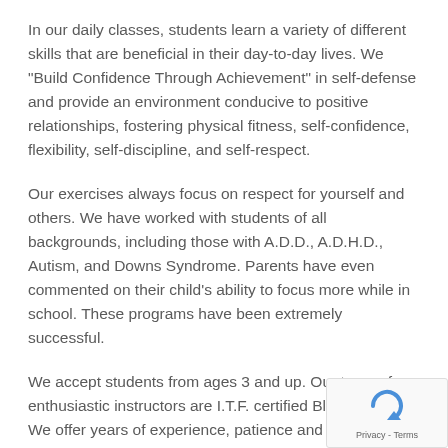In our daily classes, students learn a variety of different skills that are beneficial in their day-to-day lives. We "Build Confidence Through Achievement" in self-defense and provide an environment conducive to positive relationships, fostering physical fitness, self-confidence, flexibility, self-discipline, and self-respect.
Our exercises always focus on respect for yourself and others. We have worked with students of all backgrounds, including those with A.D.D., A.D.H.D., Autism, and Downs Syndrome. Parents have even commented on their child's ability to focus more while in school. These programs have been extremely successful.
We accept students from ages 3 and up. Our team of enthusiastic instructors are I.T.F. certified Black Belts. We offer years of experience, patience and teaching skills to help each student become the best of themselves.
[Figure (other): reCAPTCHA widget with circular arrow icon and Privacy - Terms text]